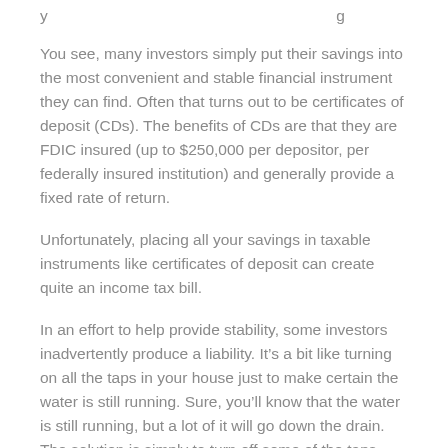y … … … … … g
You see, many investors simply put their savings into the most convenient and stable financial instrument they can find. Often that turns out to be certificates of deposit (CDs). The benefits of CDs are that they are FDIC insured (up to $250,000 per depositor, per federally insured institution) and generally provide a fixed rate of return.
Unfortunately, placing all your savings in taxable instruments like certificates of deposit can create quite an income tax bill.
In an effort to help provide stability, some investors inadvertently produce a liability. It’s a bit like turning on all the taps in your house just to make certain the water is still running. Sure, you’ll know that the water is still running, but a lot of it will go down the drain. The solution is simply to turn off some of the taps.
A number of financial instruments can help you to